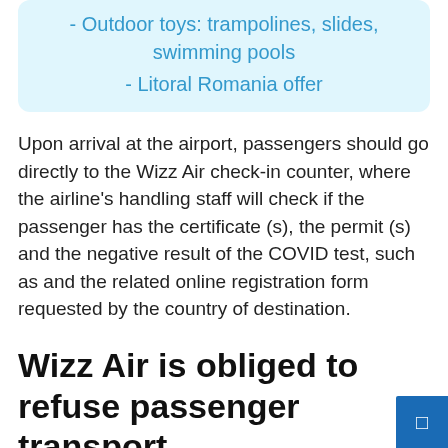- Outdoor toys: trampolines, slides, swimming pools
- Litoral Romania offer
Upon arrival at the airport, passengers should go directly to the Wizz Air check-in counter, where the airline's handling staff will check if the passenger has the certificate (s), the permit (s) and the negative result of the COVID test, such as and the related online registration form requested by the country of destination.
Wizz Air is obliged to refuse passenger transport
If these documents are valid, Wizz Air will issue a new boarding pass, which will allow passengers to board the...